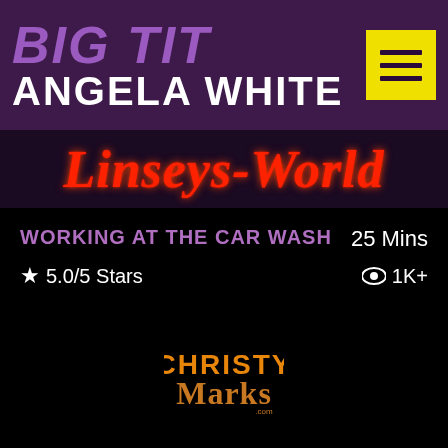BIG TIT ANGELA WHITE
Linseys World
WORKING AT THE CAR WASH
25 Mins
★ 5.0/5 Stars
👁 1K+
[Figure (logo): Christy Marks logo in orange and gold script font]